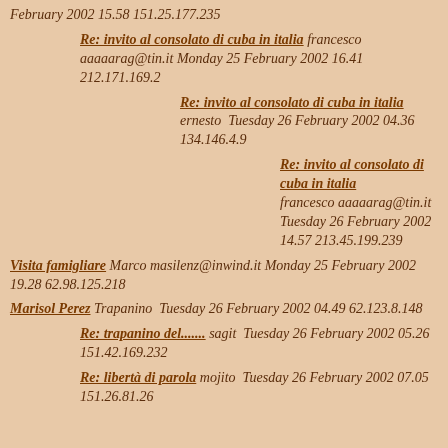February 2002 15.58 151.25.177.235
Re: invito al consolato di cuba in italia francesco aaaaarag@tin.it Monday 25 February 2002 16.41 212.171.169.2
Re: invito al consolato di cuba in italia ernesto Tuesday 26 February 2002 04.36 134.146.4.9
Re: invito al consolato di cuba in italia francesco aaaaarag@tin.it Tuesday 26 February 2002 14.57 213.45.199.239
Visita famigliare Marco masilenz@inwind.it Monday 25 February 2002 19.28 62.98.125.218
Marisol Perez Trapanino Tuesday 26 February 2002 04.49 62.123.8.148
Re: trapanino del....... sagit Tuesday 26 February 2002 05.26 151.42.169.232
Re: libertà di parola mojito Tuesday 26 February 2002 07.05 151.26.81.26